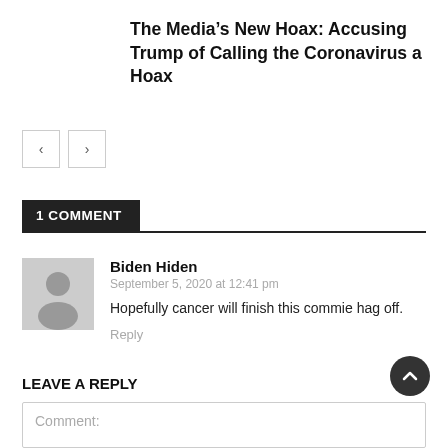The Media’s New Hoax: Accusing Trump of Calling the Coronavirus a Hoax
[Figure (other): Navigation previous/next arrow buttons]
1 COMMENT
[Figure (other): User avatar placeholder (grey silhouette)]
Biden Hiden
September 5, 2020 at 12:41 pm
Hopefully cancer will finish this commie hag off.
Reply
LEAVE A REPLY
Comment: